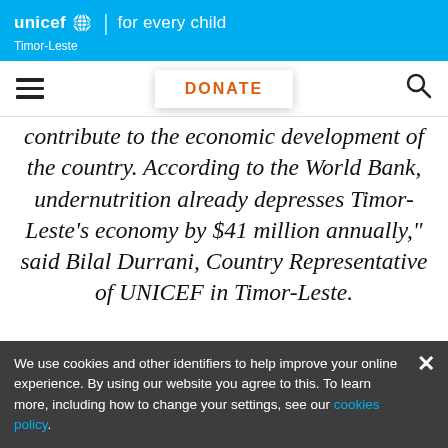unicef for every child | Timor-Leste
DONATE
contribute to the economic development of the country. According to the World Bank, undernutrition already depresses Timor-Leste’s economy by $41 million annually,” said Bilal Durrani, Country Representative of UNICEF in Timor-Leste.
We use cookies and other identifiers to help improve your online experience. By using our website you agree to this. To learn more, including how to change your settings, see our cookies policy.